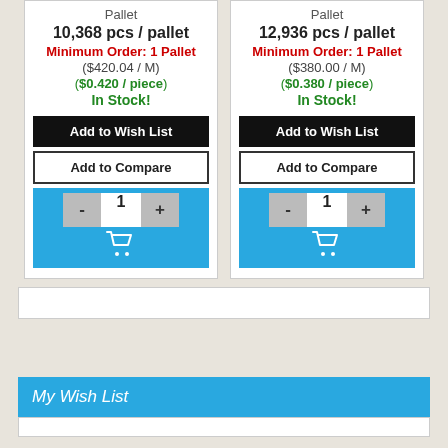Pallet
10,368 pcs / pallet
Minimum Order: 1 Pallet
($420.04 / M)
($0.420 / piece)
In Stock!
Pallet
12,936 pcs / pallet
Minimum Order: 1 Pallet
($380.00 / M)
($0.380 / piece)
In Stock!
My Wish List